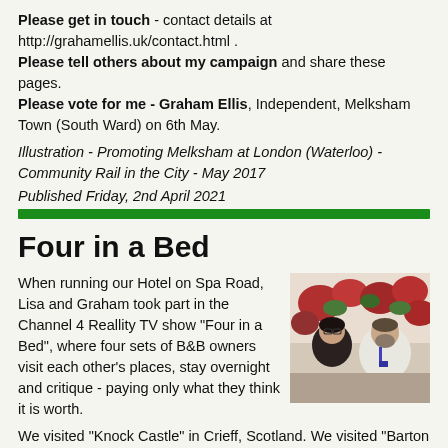Please get in touch - contact details at http://grahamellis.uk/contact.html . Please tell others about my campaign and share these pages. Please vote for me - Graham Ellis, Independent, Melksham Town (South Ward) on 6th May.
Illustration - Promoting Melksham at London (Waterloo) - Community Rail in the City - May 2017
Published Friday, 2nd April 2021
Four in a Bed
When running our Hotel on Spa Road, Lisa and Graham took part in the Channel 4 Reallity TV show "Four in a Bed", where four sets of B&B owners visit each other's places, stay overnight and critique - paying only what they think it is worth.
[Figure (photo): Photo of Lisa and Graham (a woman with dark hair and glasses and a man with a beard), standing outdoors near red flowers]
We visited "Knock Castle" in Crieff, Scotland. We visited "Barton House Hotel" in Blackpool. We hosted. And